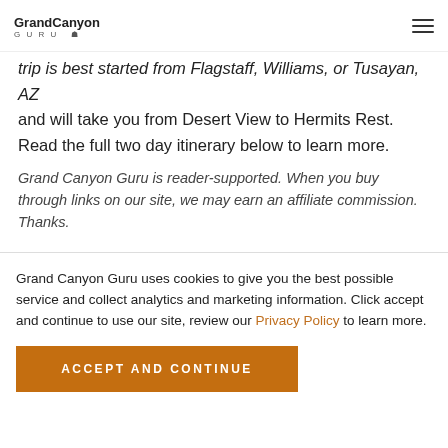Grand Canyon Guru
trip is best started from Flagstaff, Williams, or Tusayan, AZ and will take you from Desert View to Hermits Rest. Read the full two day itinerary below to learn more.
Grand Canyon Guru is reader-supported. When you buy through links on our site, we may earn an affiliate commission. Thanks.
Grand Canyon Guru uses cookies to give you the best possible service and collect analytics and marketing information. Click accept and continue to use our site, review our Privacy Policy to learn more.